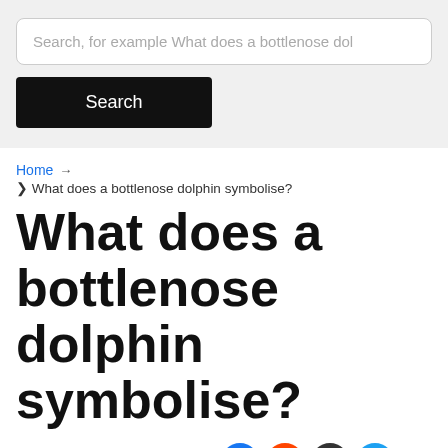Search, for example What does a bottlenose dol
Search
Home → ❯ What does a bottlenose dolphin symbolise?
What does a bottlenose dolphin symbolise?